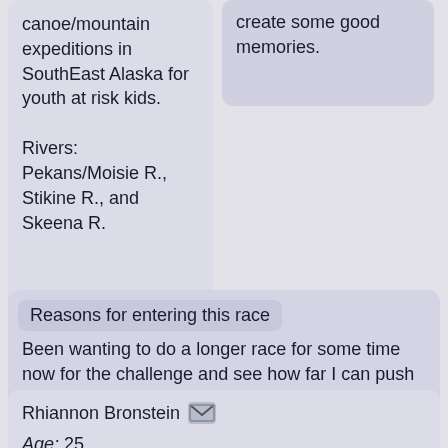canoe/mountain expeditions in SouthEast Alaska for youth at risk kids.

Rivers: Pekans/Moisie R., Stikine R., and Skeena R.
create some good memories.
Reasons for entering this race
Been wanting to do a longer race for some time now for the challenge and see how far I can push myself.
Rhiannon Bronstein
Age: 25